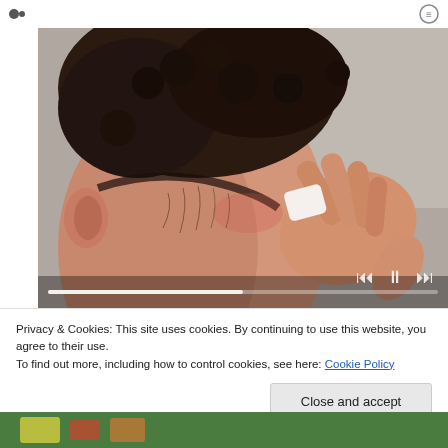[Figure (photo): Close-up photo of the back of a person's head and neck, with a hand applying or removing something (appears to be a patch or device) near the hairline at the nape of the neck. The skin appears slightly reddened. Video player controls (skip back, pause, skip forward) and a progress bar are visible at the bottom of the image overlay.]
Privacy & Cookies: This site uses cookies. By continuing to use this website, you agree to their use.
To find out more, including how to control cookies, see here: Cookie Policy
Close and accept
[Figure (photo): Partial view of another image at the very bottom of the page, showing what appears to be colorful objects on a green background.]